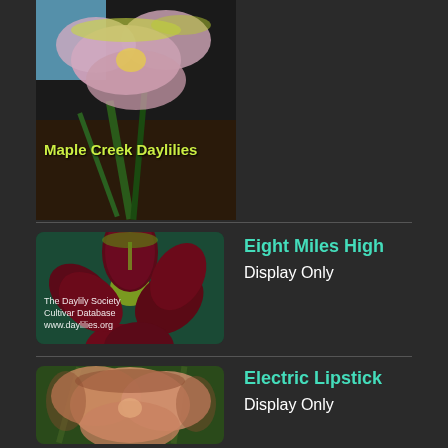[Figure (photo): Pink daylily flower with yellow-green ruffled edges, labeled 'Maple Creek Daylilies' in yellow-green text, dark background with soil and foliage]
[Figure (photo): Deep burgundy/dark red daylily with ruffled green-edged petals and green center, labeled 'The Daylily Society Cultivar Database www.daylilies.org' in white text, teal foliage background]
Eight Miles High
Display Only
[Figure (photo): Peach/salmon colored daylily with ruffled edges, partially visible, green foliage background]
Electric Lipstick
Display Only